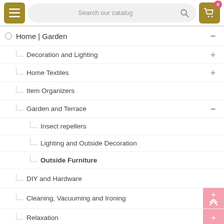[Figure (screenshot): E-commerce website navigation header with hamburger menu button, search bar reading 'Search our catalog', and shopping cart icon with badge showing 0]
Home | Garden (expanded, level 0)
Decoration and Lighting
Home Textiles
Item Organizers
Garden and Terrace (expanded)
Insect repellers
Lighting and Outside Decoration
Outside Furniture (active/bold)
DIY and Hardware
Cleaning, Vacuuming and Ironing
Relaxation
Bathroom
Heating and Cooling